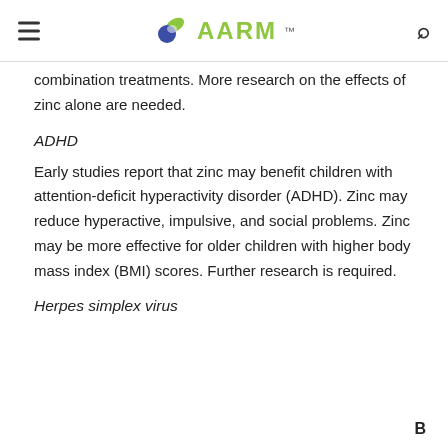AARM
combination treatments. More research on the effects of zinc alone are needed.
ADHD
Early studies report that zinc may benefit children with attention-deficit hyperactivity disorder (ADHD). Zinc may reduce hyperactive, impulsive, and social problems. Zinc may be more effective for older children with higher body mass index (BMI) scores. Further research is required.
Herpes simplex virus